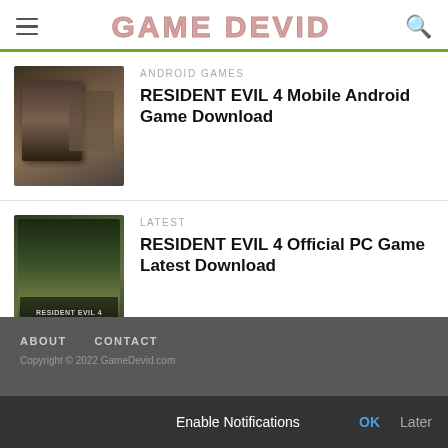GAME DEVID
ANDROID GAMES
RESIDENT EVIL 4 Mobile Android Game Download
LATEST
RESIDENT EVIL 4 Official PC Game Latest Download
ABOUT   CONTACT
Copyright © 2022 GameDevid.com
Enable Notifications   OK   Later